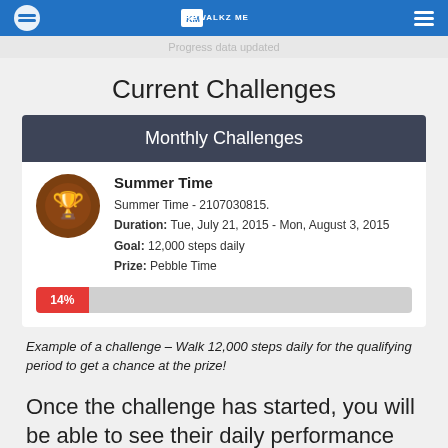[Figure (screenshot): App header with blue background showing REWALKZ ME logo in center, circular logo on left, hamburger menu on right]
Progress data updated
Current Challenges
Monthly Challenges
[Figure (screenshot): Challenge card showing Summer Time challenge with trophy icon, details, and 14% progress bar]
Example of a challenge – Walk 12,000 steps daily for the qualifying period to get a chance at the prize!
Once the challenge has started, you will be able to see their daily performance as well as a live